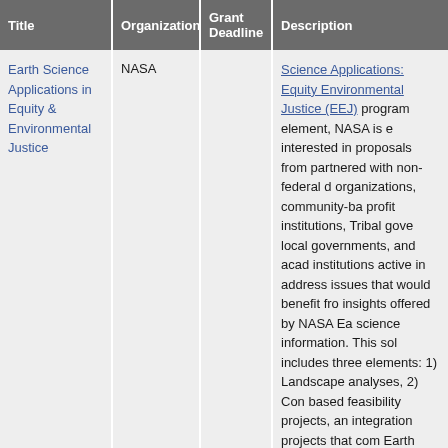| Title | Organization | Grant Deadline | Description |
| --- | --- | --- | --- |
| Earth Science Applications in Equity & Environmental Justice | NASA |  | Science Applications: Equity Environmental Justice (EEJ) program element, NASA is e... interested in proposals from partnered with non-federal d... organizations, community-ba... profit institutions, Tribal gove... local governments, and acad... institutions active in address... issues that would benefit fro... insights offered by NASA Ea... science information. This sol... includes three elements: 1) Landscape analyses, 2) Con... based feasibility projects, an... integration projects that com... Earth science information an... socioeconomic datasets. Tw... proposal teleconferences are planned, the first to be held o... January 7, 2022, and secon... February 17, 2022, on a no-a... reservation, first-to-dial-in ba... |